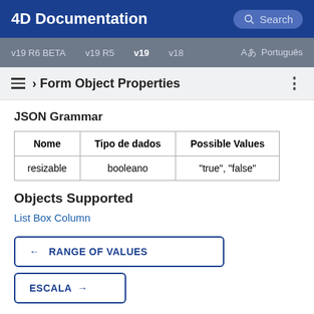4D Documentation
v19 R6 BETA   v19 R5   v19   v18   Português
› Form Object Properties
JSON Grammar
| Nome | Tipo de dados | Possible Values |
| --- | --- | --- |
| resizable | booleano | "true", "false" |
Objects Supported
List Box Column
← RANGE OF VALUES
ESCALA →